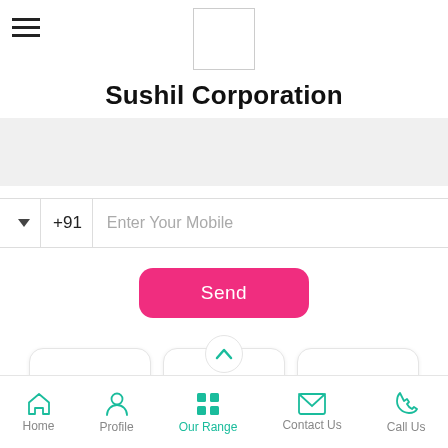[Figure (logo): Empty white logo box with border]
Sushil Corporation
[Figure (other): Grey banner placeholder area]
+91  Enter Your Mobile
Send
[Figure (other): Three product card placeholders, center card has a semi-circle tab at top]
Home  Profile  Our Range  Contact Us  Call Us